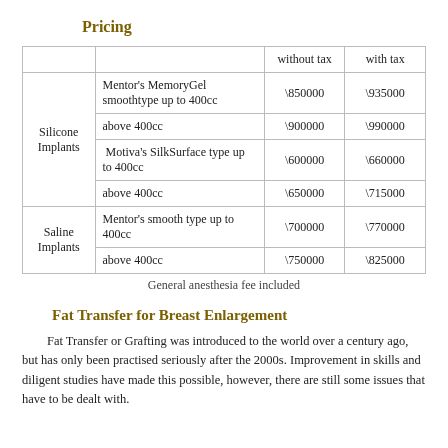Pricing
|  |  | without tax | with tax |
| --- | --- | --- | --- |
| Silicone Implants | Mentor's MemoryGel smoothtype up to 400cc | \850000 | \935000 |
|  | above 400cc | \900000 | \990000 |
|  | Motiva's SilkSurface type up to 400cc | \600000 | \660000 |
|  | above 400cc | \650000 | \715000 |
| Saline Implants | Mentor's smooth type up to 400cc | \700000 | \770000 |
|  | above 400cc | \750000 | \825000 |
General anesthesia fee included
Fat Transfer for Breast Enlargement
Fat Transfer or Grafting was introduced to the world over a century ago, but has only been practised seriously after the 2000s. Improvement in skills and diligent studies have made this possible, however, there are still some issues that have to be dealt with.